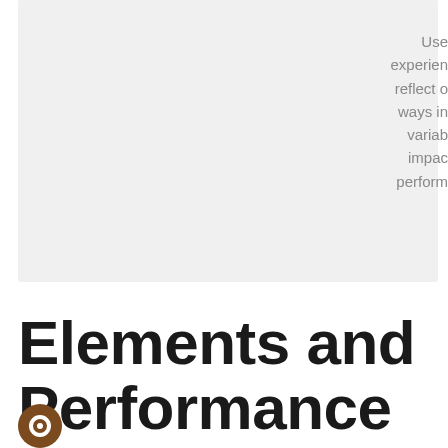[Figure (other): Gray background box with partially visible truncated text on the right side showing words: Use, experien, reflect o, ways in, variab, impac, perform]
Elements and Performance Criteria